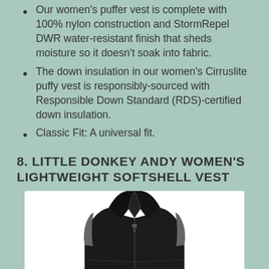Our women's puffer vest is complete with 100% nylon construction and StormRepel DWR water-resistant finish that sheds moisture so it doesn't soak into fabric.
The down insulation in our women's Cirruslite puffy vest is responsibly-sourced with Responsible Down Standard (RDS)-certified down insulation.
Classic Fit: A universal fit.
8. LITTLE DONKEY ANDY WOMEN'S LIGHTWEIGHT SOFTSHELL VEST
[Figure (photo): Black softshell vest with grey trim, zip-up front, standing collar, shown from chest up on white background.]